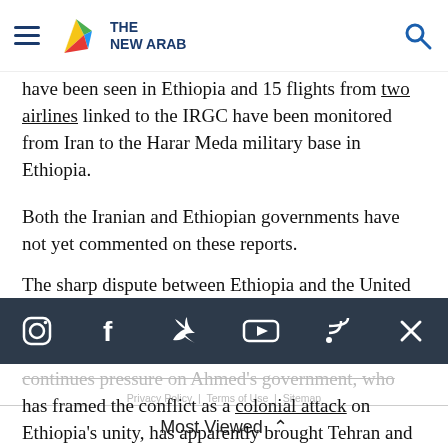The New Arab — navigation header with hamburger menu, logo, and search icon
have been seen in Ethiopia and 15 flights from two airlines linked to the IRGC have been monitored from Iran to the Harar Meda military base in Ethiopia.
Both the Iranian and Ethiopian governments have not yet commented on these reports.
The sharp dispute between Ethiopia and the United
[Figure (screenshot): Social media icon bar with Instagram, Facebook, Twitter/X, YouTube, RSS, and X icons on dark navy background]
continues pressure on Ahmed's government, who has framed the conflict as a colonial attack on Ethiopia's unity, has apparently brought Tehran and Addis Ababa closer.
Privacy Policy | Terms of Use | Sitemap
Most Viewed ^